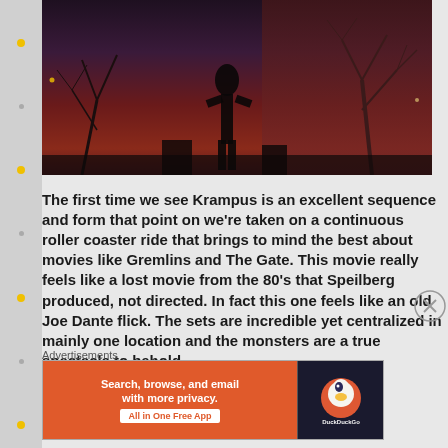[Figure (photo): Dark atmospheric scene with silhouette figure and bare trees against a reddish sky, appears to be from the Krampus movie]
The first time we see Krampus is an excellent sequence and form that point on we're taken on a continuous roller coaster ride that brings to mind the best about movies like Gremlins and The Gate. This movie really feels like a lost movie from the 80's that Speilberg produced, not directed. In fact this one feels like an old Joe Dante flick. The sets are incredible yet centralized in mainly one location and the monsters are a true spectacle to behold.
Advertisements
[Figure (screenshot): DuckDuckGo advertisement banner: Search, browse, and email with more privacy. All in One Free App]